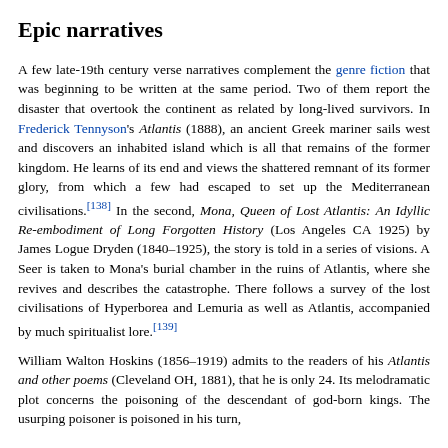Epic narratives
A few late-19th century verse narratives complement the genre fiction that was beginning to be written at the same period. Two of them report the disaster that overtook the continent as related by long-lived survivors. In Frederick Tennyson's Atlantis (1888), an ancient Greek mariner sails west and discovers an inhabited island which is all that remains of the former kingdom. He learns of its end and views the shattered remnant of its former glory, from which a few had escaped to set up the Mediterranean civilisations.[138] In the second, Mona, Queen of Lost Atlantis: An Idyllic Re-embodiment of Long Forgotten History (Los Angeles CA 1925) by James Logue Dryden (1840–1925), the story is told in a series of visions. A Seer is taken to Mona's burial chamber in the ruins of Atlantis, where she revives and describes the catastrophe. There follows a survey of the lost civilisations of Hyperborea and Lemuria as well as Atlantis, accompanied by much spiritualist lore.[139]
William Walton Hoskins (1856–1919) admits to the readers of his Atlantis and other poems (Cleveland OH, 1881), that he is only 24. Its melodramatic plot concerns the poisoning of the descendant of god-born kings. The usurping poisoner is poisoned in his turn, [140]